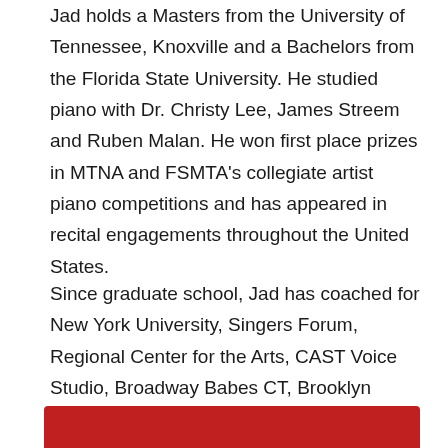Jad holds a Masters from the University of Tennessee, Knoxville and a Bachelors from the Florida State University. He studied piano with Dr. Christy Lee, James Streem and Ruben Malan. He won first place prizes in MTNA and FSMTA's collegiate artist piano competitions and has appeared in recital engagements throughout the United States.
Since graduate school, Jad has coached for New York University, Singers Forum, Regional Center for the Arts, CAST Voice Studio, Broadway Babes CT, Brooklyn Theater Arts Academy, and American Dance and Drama Studio.
[Figure (other): Red rectangular banner/button at bottom of page]